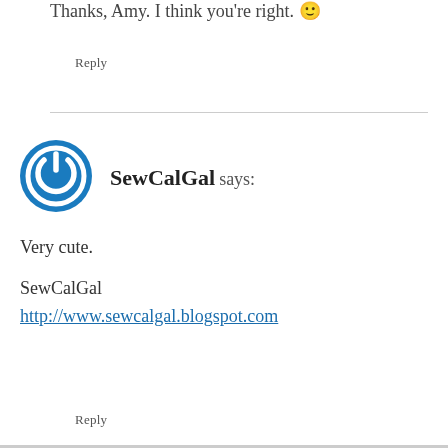Thanks, Amy. I think you're right. 🙂
Reply
SewCalGal says:
Very cute.
SewCalGal
http://www.sewcalgal.blogspot.com
Reply